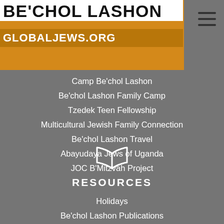BE'CHOL LASHON GLOBALJEWS.ORG
Camp Be'chol Lashon
Be'chol Lashon Family Camp
Tzedek Teen Fellowship
Multicultural Jewish Family Connection
Be'chol Lashon Travel
Abayudaya Jews of Uganda
JOC B'Mitzvah Project
[Figure (illustration): Open book icon outline in white]
RESOURCES
Holidays
Be'chol Lashon Publications
Research
Books
Children's Books
Jewish Diversity Library